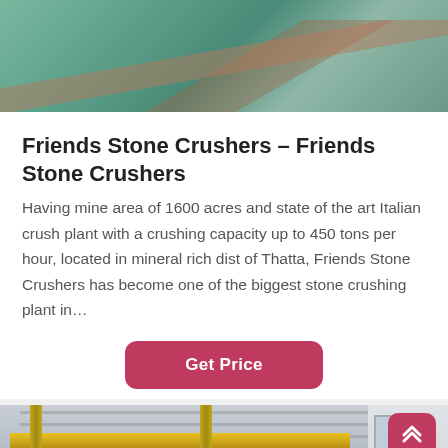[Figure (photo): Top portion of an image showing a stone/concrete surface with teal-green tones, possibly a mine or construction area viewed from above.]
Friends Stone Crushers – Friends Stone Crushers
Having mine area of 1600 acres and state of the art Italian crush plant with a crushing capacity up to 450 tons per hour, located in mineral rich dist of Thatta, Friends Stone Crushers has become one of the biggest stone crushing plant in…
[Figure (other): Get Price button — a rounded rectangle button with crimson/dark-pink background and white bold text reading 'Get Price']
[Figure (photo): Interior of an industrial warehouse or factory with yellow overhead crane/gantry structure, metal roof trusses, and white building exterior visible. Scroll-to-top button overlaid at top right.]
[Figure (other): Bottom navigation bar with 'Leave Message' button on the left and 'Chat Online' pink rounded button on the right.]